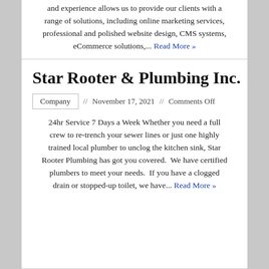and experience allows us to provide our clients with a range of solutions, including online marketing services, professional and polished website design, CMS systems, eCommerce solutions,... Read More »
Star Rooter & Plumbing Inc.
Company // November 17, 2021 // Comments Off
24hr Service 7 Days a Week Whether you need a full crew to re-trench your sewer lines or just one highly trained local plumber to unclog the kitchen sink, Star Rooter Plumbing has got you covered. We have certified plumbers to meet your needs. If you have a clogged drain or stopped-up toilet, we have... Read More »